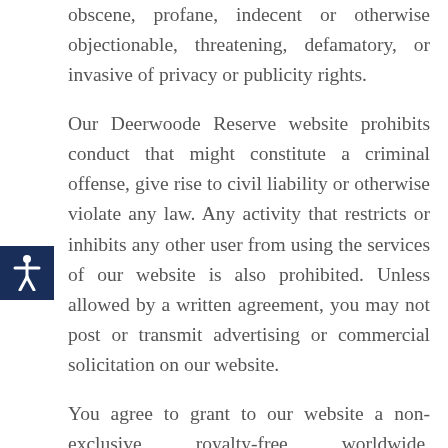obscene, profane, indecent or otherwise objectionable, threatening, defamatory, or invasive of privacy or publicity rights.
Our Deerwoode Reserve website prohibits conduct that might constitute a criminal offense, give rise to civil liability or otherwise violate any law. Any activity that restricts or inhibits any other user from using the services of our website is also prohibited. Unless allowed by a written agreement, you may not post or transmit advertising or commercial solicitation on our website.
You agree to grant to our website a non-exclusive, royalty-free, worldwide, irrevocable, perpetual license, with the right to sublicense,